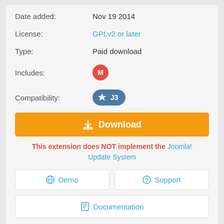Date added: Nov 19 2014
License: GPLv2 or later
Type: Paid download
Includes: M (module badge)
Compatibility: J3 (Joomla 3)
Download (button)
This extension does NOT implement the Joomla! Update System
Demo
Support
Documentation
Be the first to write a review